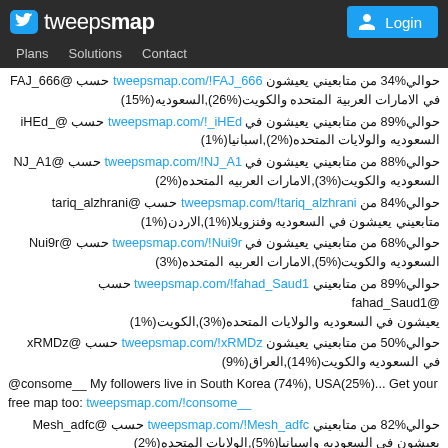tweepsmap | Plans | Solutions | Contact | Login
حوالي%34 من متابعيني يعيشون tweepsmap.com/!FAJ_666 حسب @FAJ_666 في الامارات العربية المتحده والكويت(%26),السعوديه(%15)
حوالي%89 من متابعيني يعيشون في tweepsmap.com/!_iHEd حسب @_iHEd السعوديه والولايات المتحده(%2),اسبانيا(%1)
حوالي%88 من متابعيني يعيشون في tweepsmap.com/!NJ_A1 حسب @NJ_A1 السعوديه والكويت(%3),الامارات العربيه المتحده(%2)
حوالي%84 من tweepsmap.com/!tariq_alzhrani حسب @tariq_alzhrani متابعيني يعيشون في السعوديه وفنزويلا(%1),الاردن(%1)
حوالي%68 من متابعيني يعيشون في tweepsmap.com/!Nui9r حسب @Nui9r السعوديه والكويت(%5),الامارات العربيه المتحده(%3)
حوالي%89 من متابعيني tweepsmap.com/!fahad_Saud1 حسب @fahad_Saud1 يعيشون في السعوديه والولايات المتحده(%3),الكويت(%1)
حوالي%50 من متابعيني يعيشون tweepsmap.com/!xRMDz حسب @xRMDz في السعوديه والكويت(%14),العراق(%9)
@consome__ My followers live in South Korea (74%), USA(25%)... Get your free map too: tweepsmap.com/!consome__
حوالي%82 من متابعيني tweepsmap.com/!Mesh_adfc حسب @Mesh_adfc يعيشون في السعوديه واسبانيا(%5),الولايات المتحده(%2)
حوالي%86 من متابعيني يعيشون tweepsmap.com/!Mar_afc حسب @Mar_afc في السعوديه والولايات المتحده(%3),مصر(%2)
حوالي%86 من tweepsmap.com/!Waad_alsloom حسب @Waad_alsloom متابعيني يعيشون في السعوديه والولايات المتحده(%4),الكويت(%3)